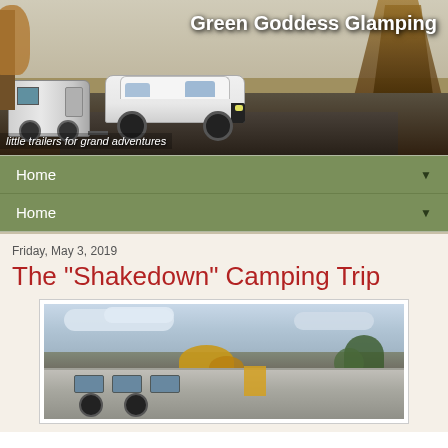[Figure (photo): Header banner photo of a white Nissan SUV towing a silver Airstream trailer on a wooded road, with text 'Green Goddess Glamping' and tagline 'little trailers for grand adventures']
Green Goddess Glamping
little trailers for grand adventures
Home ▼
Home ▼
Friday, May 3, 2019
The "Shakedown" Camping Trip
[Figure (photo): Outdoor camping scene with RVs/trailers parked in a campground, cloudy sky, yellow trees in background]